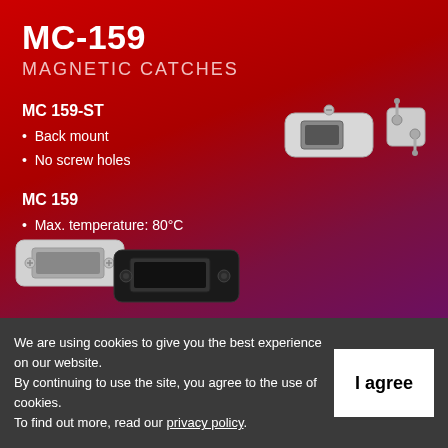MC-159
MAGNETIC CATCHES
MC 159-ST
Back mount
No screw holes
[Figure (photo): MC 159-ST magnetic catch components: a rectangular silver catch body with back mounting and a separate striker plate with two pins]
MC 159
Max. temperature: 80°C
Ultra thin
[Figure (photo): MC 159 ultra thin magnetic catches: a silver rectangular catch and a black rectangular catch shown side by side]
We are using cookies to give you the best experience on our website.
By continuing to use the site, you agree to the use of cookies.
To find out more, read our privacy policy.